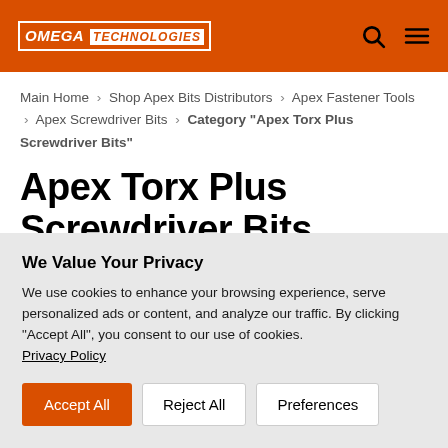OMEGA TECHNOLOGIES
Main Home > Shop Apex Bits Distributors > Apex Fastener Tools > Apex Screwdriver Bits > Category "Apex Torx Plus Screwdriver Bits"
Apex Torx Plus Screwdriver Bits
We Value Your Privacy
We use cookies to enhance your browsing experience, serve personalized ads or content, and analyze our traffic. By clicking "Accept All", you consent to our use of cookies. Privacy Policy
Accept All | Reject All | Preferences